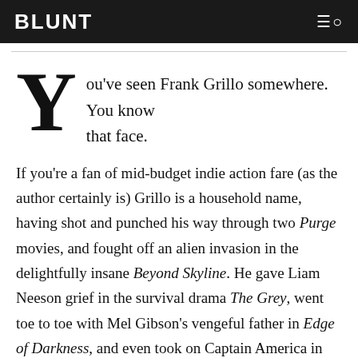BLUNT
You've seen Frank Grillo somewhere. You know that face.
If you're a fan of mid-budget indie action fare (as the author certainly is) Grillo is a household name, having shot and punched his way through two Purge movies, and fought off an alien invasion in the delightfully insane Beyond Skyline. He gave Liam Neeson grief in the survival drama The Grey, went toe to toe with Mel Gibson's vengeful father in Edge of Darkness, and even took on Captain America in The Winter Soldier and Civil